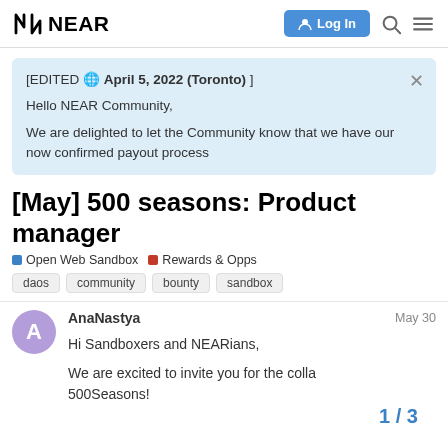NEAR — Log In
[EDITED 🌐 April 5, 2022 (Toronto) ]

Hello NEAR Community,

We are delighted to let the Community know that we have our now confirmed payout process
[May] 500 seasons: Product manager
Open Web Sandbox   Rewards & Opps
daos
community
bounty
sandbox
AnaNastya   May 30
Hi Sandboxers and NEARians,

We are excited to invite you for the colla 500Seasons!
1 / 3